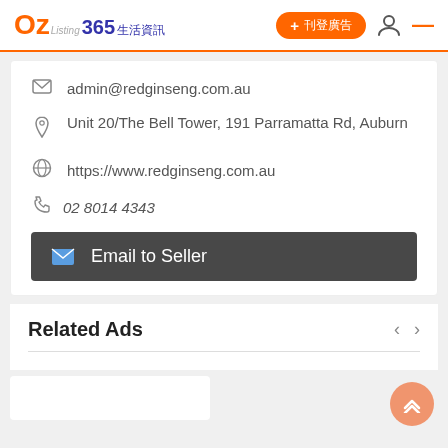OZ Listing 365生活資訊 + 刊登廣告
admin@redginseng.com.au
Unit 20/The Bell Tower, 191 Parramatta Rd, Auburn
https://www.redginseng.com.au
02 8014 4343
Email to Seller
Related Ads